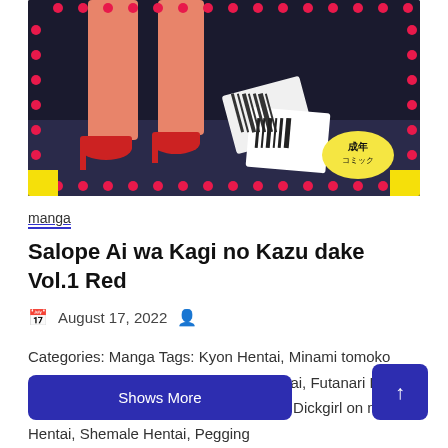[Figure (illustration): Manga cover art showing anime-style female figure with red high heels, barcodes, and Japanese text including '成年コミック' badge on dark background with pink/red dot border decorations]
manga
Salope Ai wa Kagi no Kazu dake Vol.1 Red
August 17, 2022
Categories: Manga Tags: Kyon Hentai, Minami tomoko Hentai, Manga Hentai, Tankoubon Hentai, Futanari Hentai, Crossdressing Hentai, Strap-on Hentai, Dickgirl on male Hentai, Shemale Hentai, Pegging
Shows More
↑